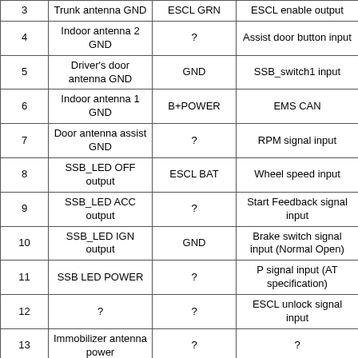| Pin | Description | Signal | Function |
| --- | --- | --- | --- |
| 3 | Trunk antenna GND | ESCL GRN | ESCL enable output |
| 4 | Indoor antenna 2 GND | ? | Assist door button input |
| 5 | Driver's door antenna GND | GND | SSB_switch1 input |
| 6 | Indoor antenna 1 GND | B+POWER | EMS CAN |
| 7 | Door antenna assist GND | ? | RPM signal input |
| 8 | SSB_LED OFF output | ESCL BAT | Wheel speed input |
| 9 | SSB_LED ACC output | ? | Start Feedback signal input |
| 10 | SSB_LED IGN output | GND | Brake switch signal input (Normal Open) |
| 11 | SSB LED POWER | ? | P signal input (AT specification) |
| 12 | ? | ? | ESCL unlock signal input |
| 13 | Immobilizer antenna power | ? | ? |